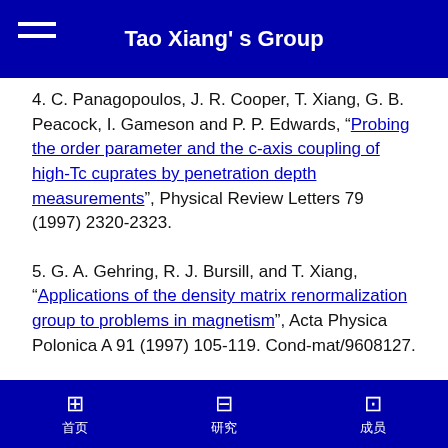Tao Xiang' s Group
4. C. Panagopoulos, J. R. Cooper, T. Xiang, G. B. Peacock, I. Gameson and P. P. Edwards, “Probing the order parameter and the c-axis coupling of high-Tc cuprates by penetration depth measurements”, Physical Review Letters 79 (1997) 2320-2323.
5. G. A. Gehring, R. J. Bursill, and T. Xiang, “Applications of the density matrix renormalization group to problems in magnetism”, Acta Physica Polonica A 91 (1997) 105-119. Cond-mat/9608127.
6. T. Xiang, C. Panagopoulos, J. R. Cooper, c-axis electronic structure and superfluid response of copper oxide superconductors, in Proceeding of IX international
首页  研究  成员